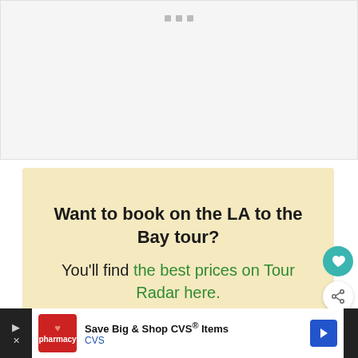[Figure (screenshot): Gray placeholder area with three small gray square dots centered at the top, representing a loading or empty content region]
Want to book on the LA to the Bay tour?
You'll find the best prices on Tour Radar here.
[Figure (screenshot): CVS Pharmacy advertisement banner: Save Big & Shop CVS® Items, CVS, with red CVS logo and blue navigation arrow icon]